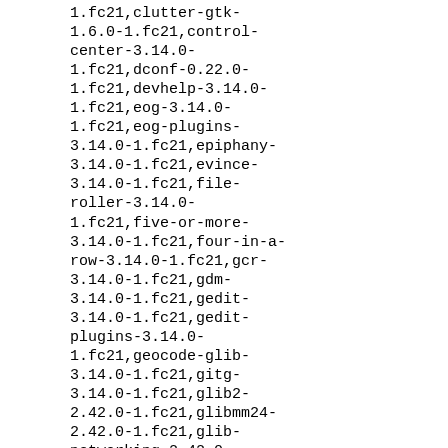1.fc21,clutter-gtk-1.6.0-1.fc21,control-center-3.14.0-1.fc21,dconf-0.22.0-1.fc21,devhelp-3.14.0-1.fc21,eog-3.14.0-1.fc21,eog-plugins-3.14.0-1.fc21,epiphany-3.14.0-1.fc21,evince-3.14.0-1.fc21,file-roller-3.14.0-1.fc21,five-or-more-3.14.0-1.fc21,four-in-a-row-3.14.0-1.fc21,gcr-3.14.0-1.fc21,gdm-3.14.0-1.fc21,gedit-3.14.0-1.fc21,gedit-plugins-3.14.0-1.fc21,geocode-glib-3.14.0-1.fc21,gitg-3.14.0-1.fc21,glib2-2.42.0-1.fc21,glibmm24-2.42.0-1.fc21,glib-networking-2.42.0-1.fc21,gnome-backgrounds-3.14.0-1.fc21,gnome-bluetooth-3.14.0-1.fc21,gnome-boxes-3.14.0-1.fc21,gnome-calculator-